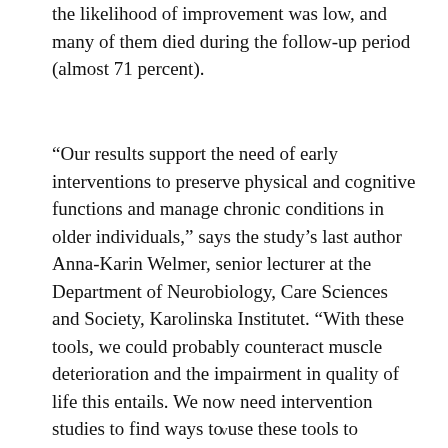the likelihood of improvement was low, and many of them died during the follow-up period (almost 71 percent).
“Our results support the need of early interventions to preserve physical and cognitive functions and manage chronic conditions in older individuals,” says the study’s last author Anna-Karin Welmer, senior lecturer at the Department of Neurobiology, Care Sciences and Society, Karolinska Institutet. “With these tools, we could probably counteract muscle deterioration and the impairment in quality of life this entails. We now need intervention studies to find ways to use these tools to counteract sarcopenia.”
v